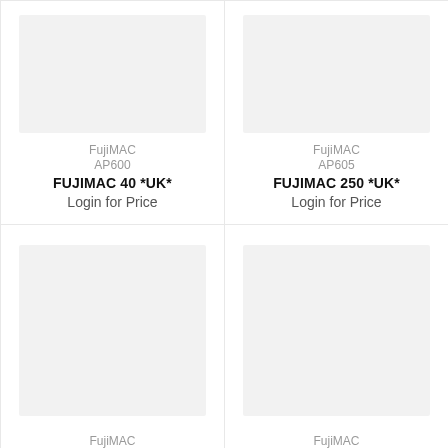[Figure (other): Product image placeholder for FujiMAC AP600]
FujiMAC
AP600
FUJIMAC 40 *UK*
Login for Price
[Figure (other): Product image placeholder for FujiMAC AP605]
FujiMAC
AP605
FUJIMAC 250 *UK*
Login for Price
[Figure (other): Product image placeholder (bottom left)]
FujiMAC
[Figure (other): Product image placeholder (bottom right)]
FujiMAC